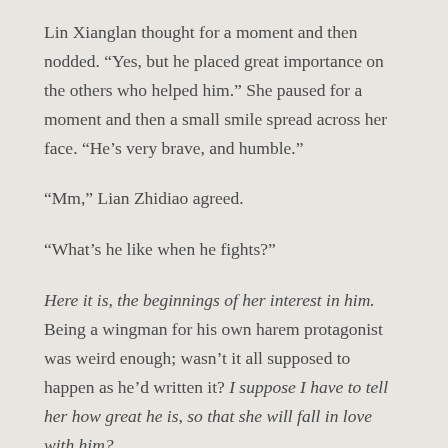Lin Xianglan thought for a moment and then nodded. “Yes, but he placed great importance on the others who helped him.” She paused for a moment and then a small smile spread across her face. “He’s very brave, and humble.”
“Mm,” Lian Zhidiao agreed.
“What’s he like when he fights?”
Here it is, the beginnings of her interest in him. Being a wingman for his own harem protagonist was weird enough; wasn’t it all supposed to happen as he’d written it? I suppose I have to tell her how great he is, so that she will fall in love with him?